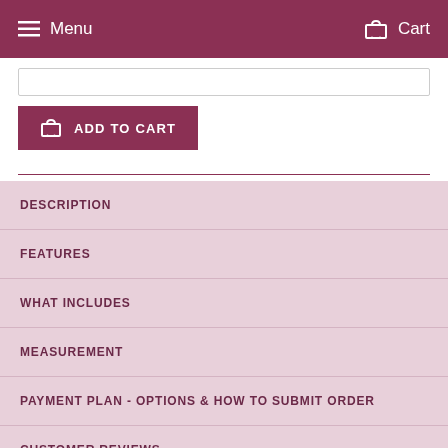Menu  Cart
[Figure (screenshot): Input bar / quantity selector field]
ADD TO CART
DESCRIPTION
FEATURES
WHAT INCLUDES
MEASUREMENT
PAYMENT PLAN - OPTIONS & HOW TO SUBMIT ORDER
CUSTOMER REVIEWS
ORDER CANCELLATION POLICY